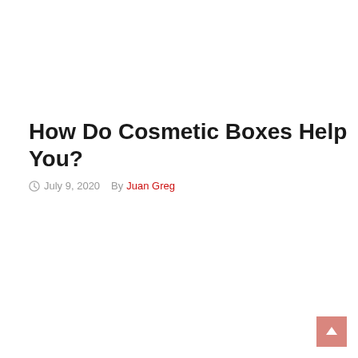How Do Cosmetic Boxes Help You?
July 9, 2020  By Juan Greg
BUSINESS